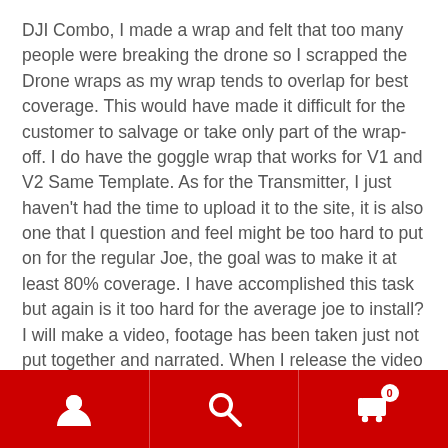DJI Combo, I made a wrap and felt that too many people were breaking the drone so I scrapped the Drone wraps as my wrap tends to overlap for best coverage. This would have made it difficult for the customer to salvage or take only part of the wrap-off. I do have the goggle wrap that works for V1 and V2 Same Template. As for the Transmitter, I just haven't had the time to upload it to the site, it is also one that I question and feel might be too hard to put on for the regular Joe, the goal was to make it at least 80% coverage. I have accomplished this task but again is it too hard for the average joe to install? I will make a video, footage has been taken just not put together and narrated. When I release the video and product you can decide if you want to give it a try.
Navigation bar with user, search, and cart icons